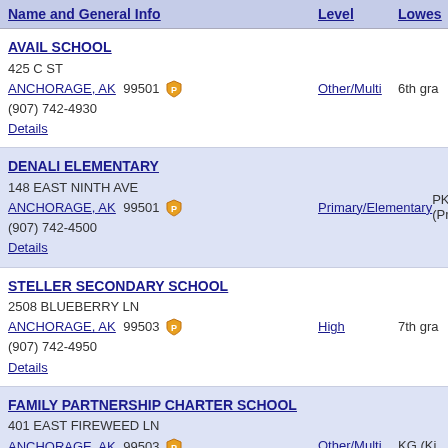| Name and General Info | Level | Lowest |
| --- | --- | --- |
| AVAIL SCHOOL
425 C ST
ANCHORAGE, AK 99501
(907) 742-4930
Details | Other/Multi | 6th gra |
| DENALI ELEMENTARY
148 EAST NINTH AVE
ANCHORAGE, AK 99501
(907) 742-4500
Details | Primary/Elementary | PK (Pr |
| STELLER SECONDARY SCHOOL
2508 BLUEBERRY LN
ANCHORAGE, AK 99503
(907) 742-4950
Details | High | 7th gra |
| FAMILY PARTNERSHIP CHARTER SCHOOL
401 EAST FIREWEED LN
ANCHORAGE, AK 99503
(907) 742-3700
Details | Other/Multi | KG (Ki |
| FRONTIER CHARTER SCHOOL |  |  |